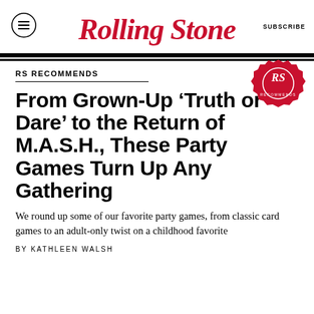Rolling Stone | SUBSCRIBE
RS RECOMMENDS
From Grown-Up ‘Truth or Dare’ to the Return of M.A.S.H., These Party Games Turn Up Any Gathering
We round up some of our favorite party games, from classic card games to an adult-only twist on a childhood favorite
BY KATHLEEN WALSH